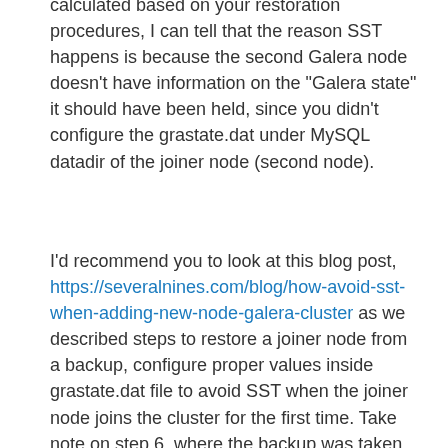calculated based on your restoration procedures, I can tell that the reason SST happens is because the second Galera node doesn't have information on the "Galera state" it should have been held, since you didn't configure the grastate.dat under MySQL datadir of the joiner node (second node).
I'd recommend you to look at this blog post, https://severalnines.com/blog/how-avoid-sst-when-adding-new-node-galera-cluster as we described steps to restore a joiner node from a backup, configure proper values inside grastate.dat file to avoid SST when the joiner node joins the cluster for the first time. Take note on step 6, where the backup was taken with "--galera-info" flag and step 8 where we configure the Galera state (UUID and seqno) in grastate.dat.
Regards,
Ashraf